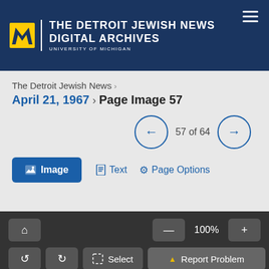THE DETROIT JEWISH NEWS DIGITAL ARCHIVES — UNIVERSITY OF MICHIGAN
The Detroit Jewish News ›
April 21, 1967 › Page Image 57
57 of 64
Image  Text  Page Options
[Figure (screenshot): Toolbar with home, zoom minus, 100%, zoom plus, rotate CCW, rotate CW, Select, and Report Problem buttons on dark background]